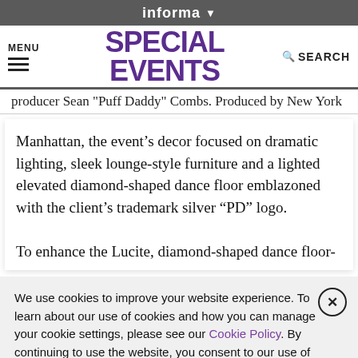informa ▼
MENU  SPECIAL EVENTS  SEARCH
producer Sean "Puff Daddy" Combs. Produced by New York
Manhattan, the event's decor focused on dramatic lighting, sleek lounge-style furniture and a lighted elevated diamond-shaped dance floor emblazoned with the client's trademark silver "PD" logo.

To enhance the Lucite, diamond-shaped dance floor-
We use cookies to improve your website experience. To learn about our use of cookies and how you can manage your cookie settings, please see our Cookie Policy. By continuing to use the website, you consent to our use of cookies.